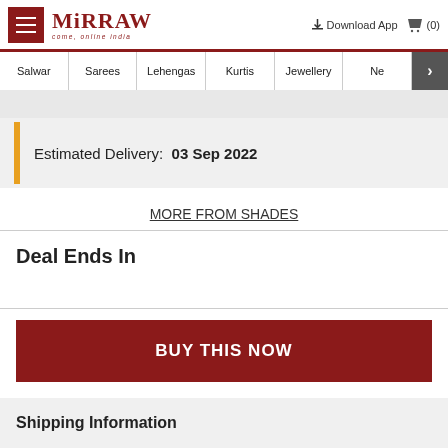Mirraw - Download App (0)
[Figure (screenshot): Mirraw website navigation bar with menu items: Salwar, Sarees, Lehengas, Kurtis, Jewellery, Ne (more)]
Estimated Delivery: 03 Sep 2022
MORE FROM SHADES
Deal Ends In
BUY THIS NOW
Shipping Information